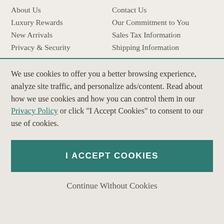About Us
Contact Us
Luxury Rewards
Our Commitment to You
New Arrivals
Sales Tax Information
Privacy & Security
Shipping Information
We use cookies to offer you a better browsing experience, analyze site traffic, and personalize ads/content. Read about how we use cookies and how you can control them in our Privacy Policy or click "I Accept Cookies" to consent to our use of cookies.
I ACCEPT COOKIES
Continue Without Cookies